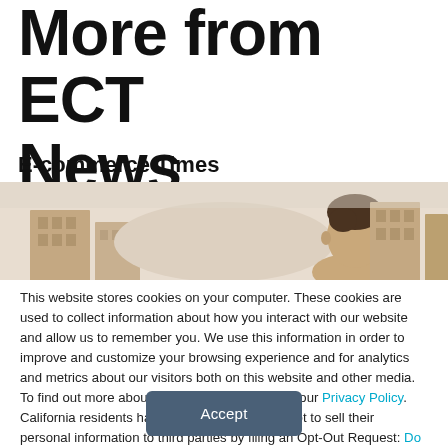More from ECT News Network
E-commerce Times
[Figure (photo): A man looking upward against a background of modern buildings and a light sky, wide banner crop]
This website stores cookies on your computer. These cookies are used to collect information about how you interact with our website and allow us to remember you. We use this information in order to improve and customize your browsing experience and for analytics and metrics about our visitors both on this website and other media. To find out more about the cookies we use, see our Privacy Policy. California residents have the right to direct us not to sell their personal information to third parties by filing an Opt-Out Request: Do Not Sell My Personal Info.
Accept